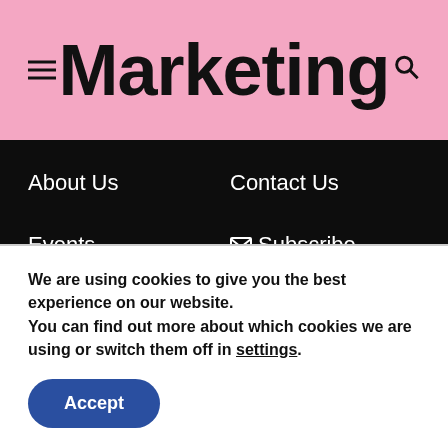Marketing
About Us
Events
FAQs
Contact Us
Subscribe
Tags
CAMPAIGN
CASE STUDY
DIGITAL
EVENT
FEATURE
INFOGRAPHIC
INTERVIEW
MAR
We are using cookies to give you the best experience on our website.
You can find out more about which cookies we are using or switch them off in settings.